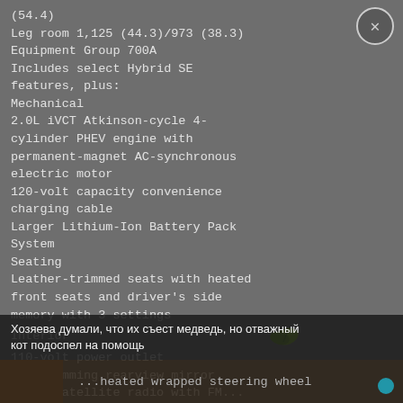(54.4)
Leg room 1,125 (44.3)/973 (38.3)
Equipment Group 700A
Includes select Hybrid SE features, plus:
Mechanical
2.0L iVCT Atkinson-cycle 4-cylinder PHEV engine with permanent-magnet AC-synchronous electric motor
120-volt capacity convenience charging cable
Larger Lithium-Ion Battery Pack System
Seating
Leather-trimmed seats with heated front seats and driver's side memory with 3 settings
Interior
110-volt power outlet
Auto-dimming rearview mirror
AM/FM/satellite radio with FM...
Хозяева думали, что их съест медведь, но отважный кот подоспел на помощь
...heated wrapped steering wheel